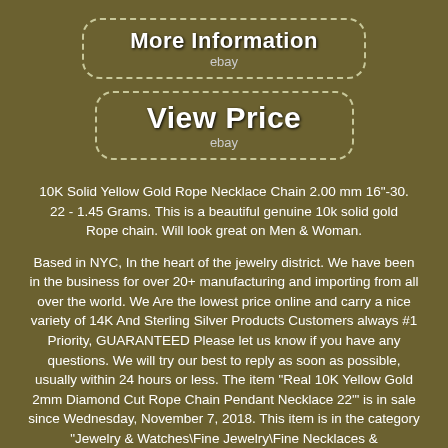[Figure (other): Dashed-border button reading 'More Information' with 'ebay' subtitle]
[Figure (other): Dashed-border button reading 'View Price' with 'ebay' subtitle]
10K Solid Yellow Gold Rope Necklace Chain 2.00 mm 16"-30. 22 - 1.45 Grams. This is a beautiful genuine 10k solid gold Rope chain. Will look great on Men & Woman.
Based in NYC, In the heart of the jewelry district. We have been in the business for over 20+ manufacturing and importing from all over the world. We Are the lowest price online and carry a nice variety of 14K And Sterling Silver Products Customers always #1 Priority, GUARANTEED Please let us know if you have any questions. We will try our best to reply as soon as possible, usually within 24 hours or less. The item "Real 10K Yellow Gold 2mm Diamond Cut Rope Chain Pendant Necklace 22'" is in sale since Wednesday, November 7, 2018. This item is in the category "Jewelry & Watches\Fine Jewelry\Fine Necklaces & Pendants\Precious Metal without Stones". The seller is "oliviany" and is located in Brooklyn, New York. This item can be shipped to United States, Canada, United Kingdom, Denmark, Romania, Slovakia, Bulgaria,